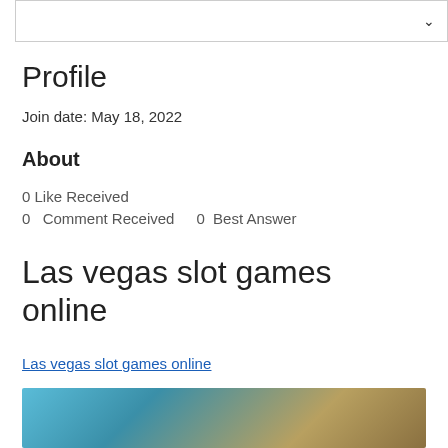▾
Profile
Join date: May 18, 2022
About
0 Like Received
0 Comment Received   0 Best Answer
Las vegas slot games online
Las vegas slot games online
[Figure (photo): Blurred slot machine or casino game image preview]